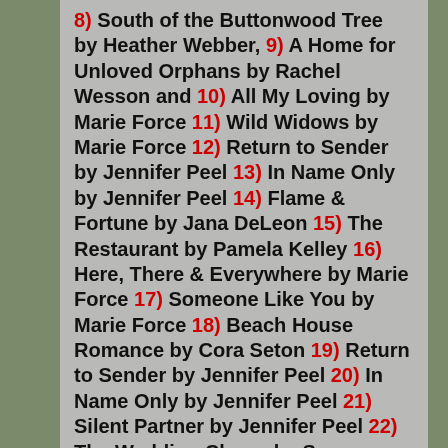8) South of the Buttonwood Tree by Heather Webber, 9) A Home for Unloved Orphans by Rachel Wesson and 10) All My Loving by Marie Force 11) Wild Widows by Marie Force 12) Return to Sender by Jennifer Peel 13) In Name Only by Jennifer Peel 14) Flame & Fortune by Jana DeLeon 15) The Restaurant by Pamela Kelley 16) Here, There & Everywhere by Marie Force 17) Someone Like You by Marie Force 18) Beach House Romance by Cora Seton 19) Return to Sender by Jennifer Peel 20) In Name Only by Jennifer Peel 21) Silent Partner by Jennifer Peel 22) The Wedding Charm by Susan Hatler 23) The Girl From the Channel Islands 24) Breakfast at the Honey Creek Cafe by Jodi Thomas 25) The Book of Sorrel by Jennifer Peel 26) Written in the Stars by